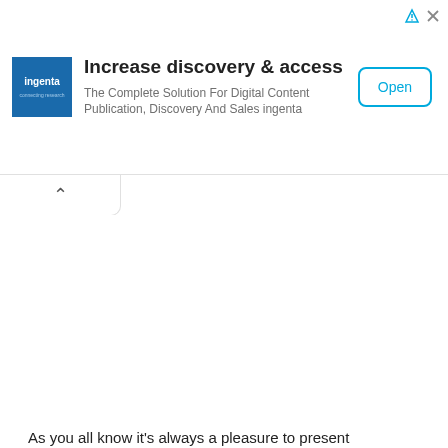[Figure (screenshot): Ingenta advertisement banner with logo, headline 'Increase discovery & access', subtitle text, and Open button]
As you all know it's always a pleasure to present